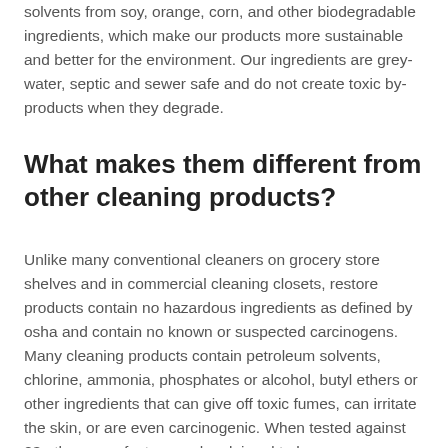solvents from soy, orange, corn, and other biodegradable ingredients, which make our products more sustainable and better for the environment. Our ingredients are grey-water, septic and sewer safe and do not create toxic by-products when they degrade.
What makes them different from other cleaning products?
Unlike many conventional cleaners on grocery store shelves and in commercial cleaning closets, restore products contain no hazardous ingredients as defined by osha and contain no known or suspected carcinogens. Many cleaning products contain petroleum solvents, chlorine, ammonia, phosphates or alcohol, butyl ethers or other ingredients that can give off toxic fumes, can irritate the skin, or are even carcinogenic. When tested against 23 other manufacturers who claimed to have environmentally safer products, restore products rated the highest overall score on performance, safety, and environmental standards. We believe that restore products are some of the safest, most